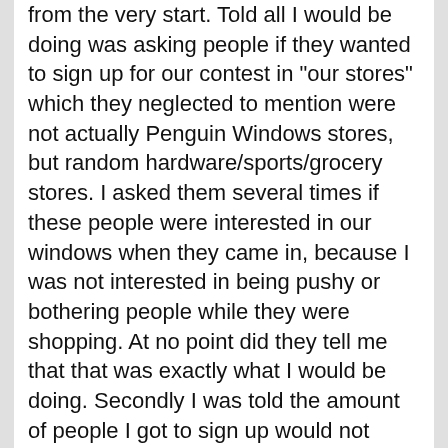from the very start. Told all I would be doing was asking people if they wanted to sign up for our contest in "our stores" which they neglected to mention were not actually Penguin Windows stores, but random hardware/sports/grocery stores. I asked them several times if these people were interested in our windows when they came in, because I was not interested in being pushy or bothering people while they were shopping. At no point did they tell me that that was exactly what I would be doing. Secondly I was told the amount of people I got to sign up would not reflect on my hours, or full time status. Another lie. Within 3 weeks of not meeting my quota (which was ridiculous high and unrealistic) I was cut in hours. Every week we would have group meetings, where we would discuss our progress. NO ONE, and I mean NO ONE ever met the quota, and in tern, turn over rate was VERY high. They also made no effort to train us in any way, yet were very harsh when we did not do what they wanted. All I can really say is they had the most sleazy underhanded disgusting business practices I had ever seen. Oddly enough the windows themselves are very good. So I always wondered why they felt the need to be such pushy annoying douche